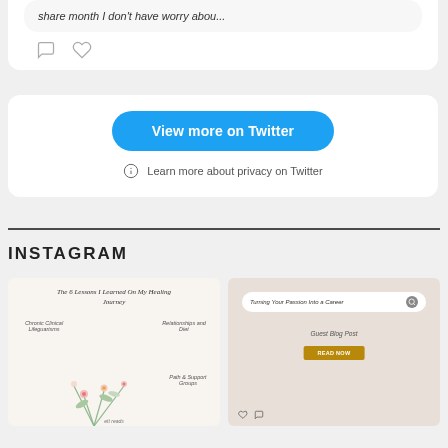share month I don't have worry abou...
[Figure (screenshot): Twitter embed card with 'View more on Twitter' button and icons for comment and like]
View more on Twitter
Learn more about privacy on Twitter
INSTAGRAM
[Figure (screenshot): Instagram post: The 6 Lessons I Learned On My Healing Journey with floral illustration]
[Figure (screenshot): Instagram post: Turning Your Passion Into a Career - Guest Blog Post - READ NOW]